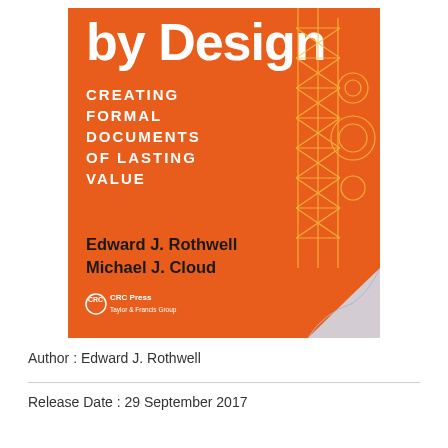[Figure (illustration): Book cover of 'Engineering Writing by Design: Creating Formal Documents of Lasting Value' by Edward J. Rothwell and Michael J. Cloud, published by CRC Press. Orange background with white uppercase text for subtitle, dark bold text for authors, and a technical engineering diagram on the right side. A page-curl effect appears at the bottom right corner.]
Author : Edward J. Rothwell
Release Date : 29 September 2017